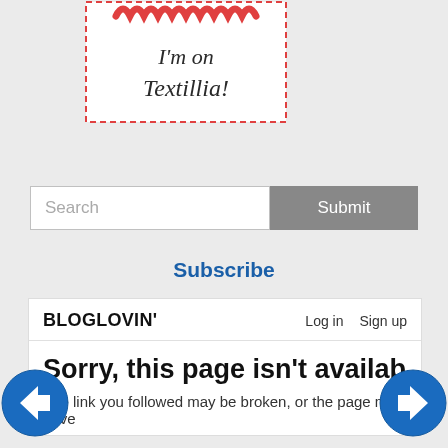[Figure (illustration): Textillia badge with red lace top decoration, dashed red border, text reading I'm on Textillia! in cursive script on white background]
[Figure (screenshot): Search input field with placeholder text 'Search' and a grey Submit button]
Subscribe
[Figure (screenshot): Bloglovin widget showing header with BLOGLOVIN' logo, Log in and Sign up links, then error message: Sorry, this page isn't available. The link you followed may be broken, or the page may have]
[Figure (other): Left navigation arrow (blue circle with left arrow)]
[Figure (other): Right navigation arrow (blue circle with right arrow)]